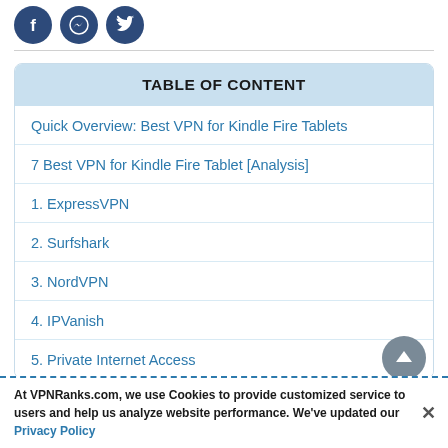[Figure (illustration): Three circular dark blue social media icons for Facebook, Messenger, and Twitter]
| TABLE OF CONTENT |
| --- |
| Quick Overview: Best VPN for Kindle Fire Tablets |
| 7 Best VPN for Kindle Fire Tablet [Analysis] |
| 1. ExpressVPN |
| 2. Surfshark |
| 3. NordVPN |
| 4. IPVanish |
| 5. Private Internet Access |
At VPNRanks.com, we use Cookies to provide customized service to users and help us analyze website performance. We've updated our Privacy Policy